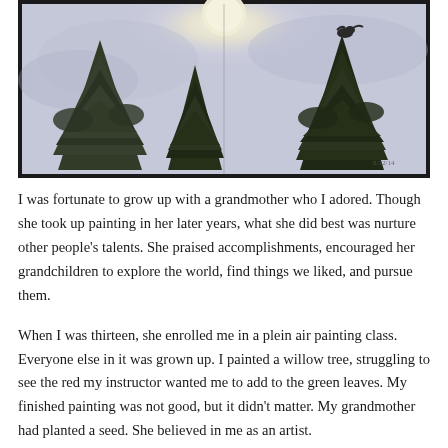[Figure (illustration): A watercolor painting showing several tall dark evergreen/pine trees against a pale lavender-blue night sky with a large full moon glowing at the top center. A bird perches atop one of the trees on the right side. The painting appears to be in a sketchbook spread across two pages, with a dark border/frame around it. There is a small date notation in the lower right of the painting.]
I was fortunate to grow up with a grandmother who I adored. Though she took up painting in her later years, what she did best was nurture other people's talents. She praised accomplishments, encouraged her grandchildren to explore the world, find things we liked, and pursue them.
When I was thirteen, she enrolled me in a plein air painting class. Everyone else in it was grown up. I painted a willow tree, struggling to see the red my instructor wanted me to add to the green leaves. My finished painting was not good, but it didn't matter. My grandmother had planted a seed. She believed in me as an artist.